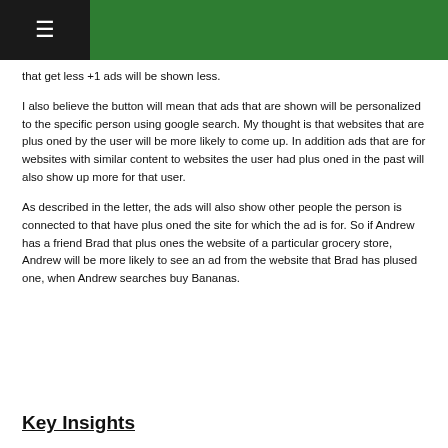≡
that get less +1 ads will be shown less.
I also believe the button will mean that ads that are shown will be personalized to the specific person using google search. My thought is that websites that are plus oned by the user will be more likely to come up. In addition ads that are for websites with similar content to websites the user had plus oned in the past will also show up more for that user.
As described in the letter, the ads will also show other people the person is connected to that have plus oned the site for which the ad is for. So if Andrew has a friend Brad that plus ones the website of a particular grocery store, Andrew will be more likely to see an ad from the website that Brad has plused one, when Andrew searches buy Bananas.
Key Insights